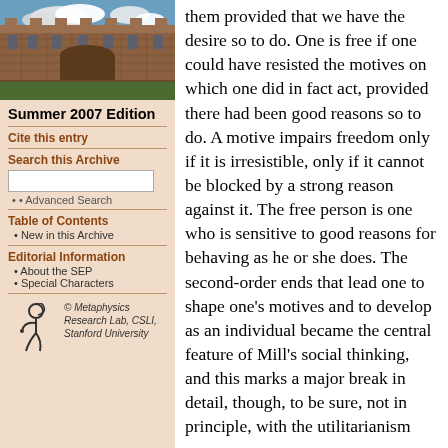[Figure (photo): Photo of a university building (stone architecture) with blue sky and clouds]
Summer 2007 Edition
Cite this entry
Search this Archive
Advanced Search
Table of Contents
New in this Archive
Editorial Information
About the SEP
Special Characters
[Figure (logo): Metaphysics Research Lab, CSLI, Stanford University logo with stylized figure]
them provided that we have the desire so to do. One is free if one could have resisted the motives on which one did in fact act, provided there had been good reasons so to do. A motive impairs freedom only if it is irresistible, only if it cannot be blocked by a strong reason against it. The free person is one who is sensitive to good reasons for behaving as he or she does. The second-order ends that lead one to shape one's motives and to develop as an individual became the central feature of Mill's social thinking, and this marks a major break in detail, though, to be sure, not in principle, with the utilitarianism